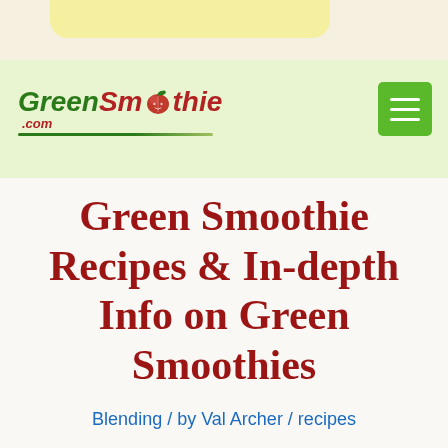[Figure (logo): GreenSmoothie.com website logo with green italic text and apple graphic, on light green header background with hamburger menu button]
Green Smoothie Recipes & In-depth Info on Green Smoothies
Blending / by Val Archer / recipes